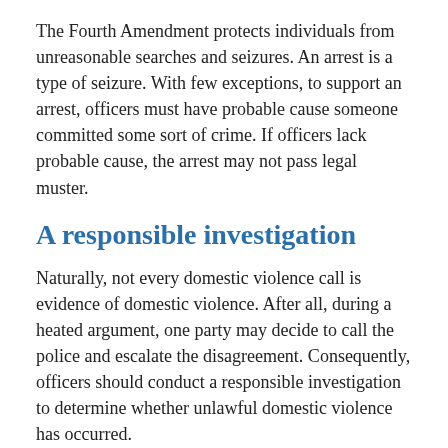The Fourth Amendment protects individuals from unreasonable searches and seizures. An arrest is a type of seizure. With few exceptions, to support an arrest, officers must have probable cause someone committed some sort of crime. If officers lack probable cause, the arrest may not pass legal muster.
A responsible investigation
Naturally, not every domestic violence call is evidence of domestic violence. After all, during a heated argument, one party may decide to call the police and escalate the disagreement. Consequently, officers should conduct a responsible investigation to determine whether unlawful domestic violence has occurred.
During a domestic investigation of a reported...